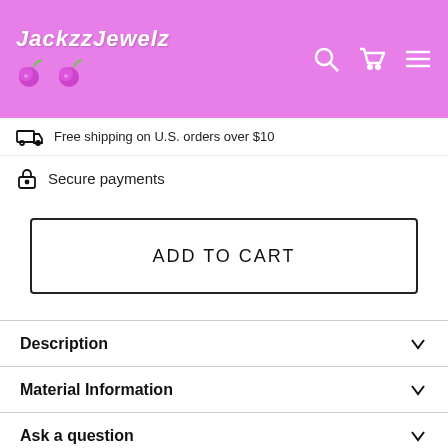[Figure (logo): JackzzJewelz logo with stylized italic text and cherry icons on purple/pink background with search, cart, and menu icons]
Free shipping on U.S. orders over $10
Secure payments
ADD TO CART
Description
Material Information
Ask a question